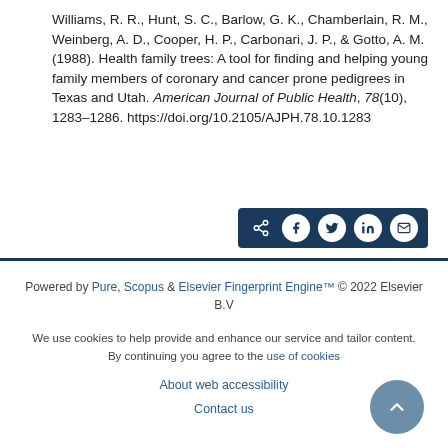Williams, R. R., Hunt, S. C., Barlow, G. K., Chamberlain, R. M., Weinberg, A. D., Cooper, H. P., Carbonari, J. P., & Gotto, A. M. (1988). Health family trees: A tool for finding and helping young family members of coronary and cancer prone pedigrees in Texas and Utah. American Journal of Public Health, 78(10), 1283-1286. https://doi.org/10.2105/AJPH.78.10.1283
[Figure (other): Social share bar with icons for share, Facebook, Twitter, LinkedIn, and email on a dark navy background]
Powered by Pure, Scopus & Elsevier Fingerprint Engine™ © 2022 Elsevier B.V

We use cookies to help provide and enhance our service and tailor content. By continuing you agree to the use of cookies

About web accessibility

Contact us